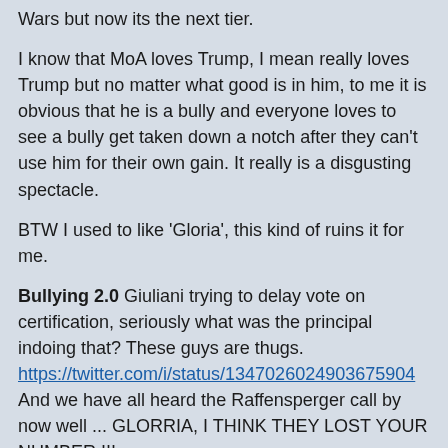Wars but now its the next tier.
I know that MoA loves Trump, I mean really loves Trump but no matter what good is in him, to me it is obvious that he is a bully and everyone loves to see a bully get taken down a notch after they can't use him for their own gain. It really is a disgusting spectacle.
BTW I used to like 'Gloria', this kind of ruins it for me.
Bullying 2.0 Giuliani trying to delay vote on certification, seriously what was the principal indoing that? These guys are thugs.
https://twitter.com/i/status/1347026024903675904
And we have all heard the Raffensperger call by now well ... GLORRIA, I THINK THEY LOST YOUR NUMBER !!!
Posted by: Christian J. Chuba | Jan 8 2021 17:24 utc | 34
Dominion Voting Systems suing The Kraken for USD 1.3 billion
Posted by: vk | Jan 8 2021 17:38 utc | 35
@ 31 pasha... bingo.... thanks...
Posted by: james | Jan 8 2021 17:53 utc | 36